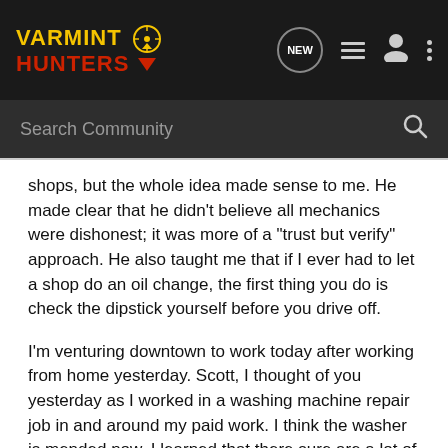[Figure (screenshot): Varmint Hunters forum navigation bar with logo, NEW chat bubble icon, list icon, user icon, and three-dot menu icon on dark background]
[Figure (screenshot): Search Community search bar with magnifying glass icon on dark grey background]
shops, but the whole idea made sense to me. He made clear that he didn't believe all mechanics were dishonest; it was more of a "trust but verify" approach. He also taught me that if I ever had to let a shop do an oil change, the first thing you do is check the dipstick yourself before you drive off.
I'm venturing downtown to work today after working from home yesterday. Scott, I thought of you yesterday as I worked in a washing machine repair job in and around my paid work. I think the washer is mended now. I learned that there sure are a lot of sharp sheet metal edges inside a washing machine.
Miss Cindy's back is mending and I took her on a short trip to Sam's Club around dinnertime last night.